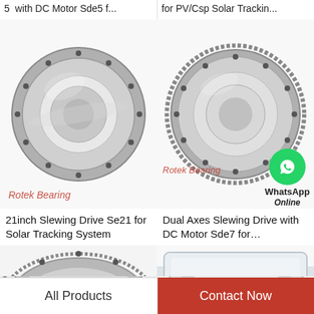5  with DC Motor Sde5 f...
for PV/Csp Solar Trackin...
[Figure (photo): Slewing ring bearing, flat ring type with bolt holes, metallic silver finish - Rotek Bearing watermark]
[Figure (photo): Slewing ring bearing with external gear teeth, metallic silver finish - Rotek Bearing watermark and WhatsApp Online overlay]
21inch Slewing Drive Se21 for Solar Tracking System
Dual Axes Slewing Drive with DC Motor Sde7 for...
[Figure (photo): Partial view of a slewing ring bearing with gear teeth, metallic silver finish]
[Figure (photo): Partial view of a slewing ring component, white/silver coloring]
All Products
Contact Now